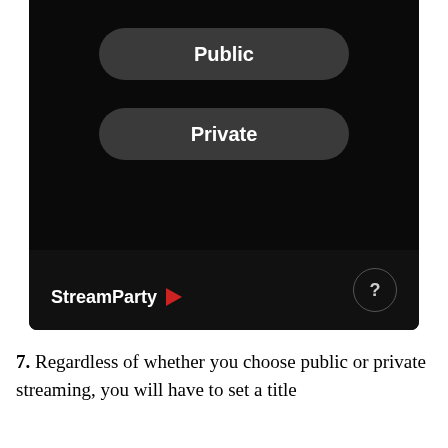[Figure (screenshot): Mobile app screenshot showing a dark-themed UI with two rounded rectangular buttons labeled 'Public' and 'Private', and a bottom bar with StreamParty logo (with red triangle/play icon) and a circular help button with '?']
7. Regardless of whether you choose public or private streaming, you will have to set a title